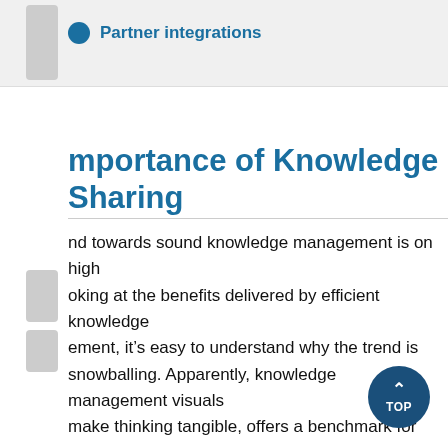Partner integrations
mportance of Knowledge Sharing
nd towards sound knowledge management is on high oking at the benefits delivered by efficient knowledge ement, it's easy to understand why the trend is snowballing. Apparently, knowledge management visuals make thinking tangible, offers a benchmark for progress measurement and prevents employees from repeatedly reinventing the wheel.
However, even as organizations jump the bandwagon...